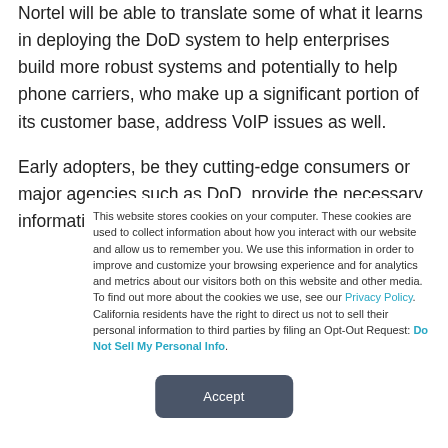Nortel will be able to translate some of what it learns in deploying the DoD system to help enterprises build more robust systems and potentially to help phone carriers, who make up a significant portion of its customer base, address VoIP issues as well.
Early adopters, be they cutting-edge consumers or major agencies such as DoD, provide the necessary information for
This website stores cookies on your computer. These cookies are used to collect information about how you interact with our website and allow us to remember you. We use this information in order to improve and customize your browsing experience and for analytics and metrics about our visitors both on this website and other media. To find out more about the cookies we use, see our Privacy Policy. California residents have the right to direct us not to sell their personal information to third parties by filing an Opt-Out Request: Do Not Sell My Personal Info.
Accept